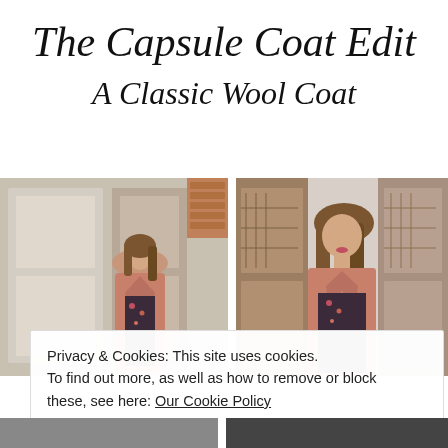The Capsule Coat Edit
A Classic Wool Coat
[Figure (photo): Woman wearing a camel/pink wool coat over a floral dress standing in front of a beige garage door — left photo]
[Figure (photo): Woman wearing a camel/pink wool coat near a brown wooden garage door, closer portrait angle — right photo]
Privacy & Cookies: This site uses cookies. To find out more, as well as how to remove or block these, see here: Our Cookie Policy
Close and accept
[Figure (photo): Bottom strip of two partially visible photos cut off at bottom of page]